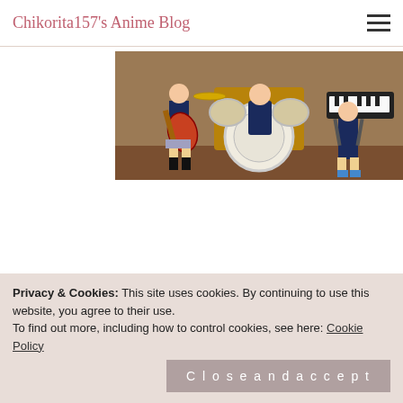Chikorita157's Anime Blog
[Figure (illustration): Anime-style illustration of a school band with students playing guitar, drums, and keyboard in a music room]
Missing Artist Infomation: help us out!
Since K-ON have 7 more episodes left and we are in the middle of the report, I should give my overall reaction to all 6 episodes I have watched so far.
(click read more to read the full report)
Privacy & Cookies: This site uses cookies. By continuing to use this website, you agree to their use.
To find out more, including how to control cookies, see here: Cookie Policy
Close and accept
Tag: comedy, fangirls, kyoani, moe, music